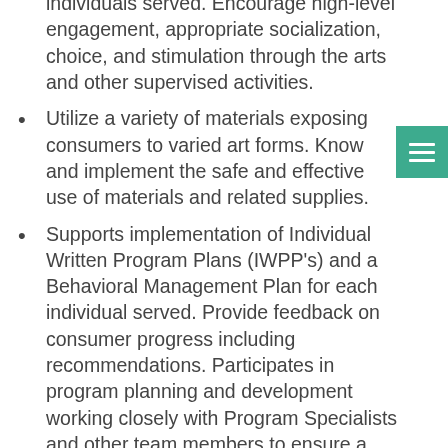individuals served. Encourage high-level engagement, appropriate socialization, choice, and stimulation through the arts and other supervised activities.
Utilize a variety of materials exposing consumers to varied art forms. Know and implement the safe and effective use of materials and related supplies.
Supports implementation of Individual Written Program Plans (IWPP’s) and a Behavioral Management Plan for each individual served. Provide feedback on consumer progress including recommendations. Participates in program planning and development working closely with Program Specialists and other team members to ensure a well-integrated approach to consumer care.
Plan and provide opportunities for...